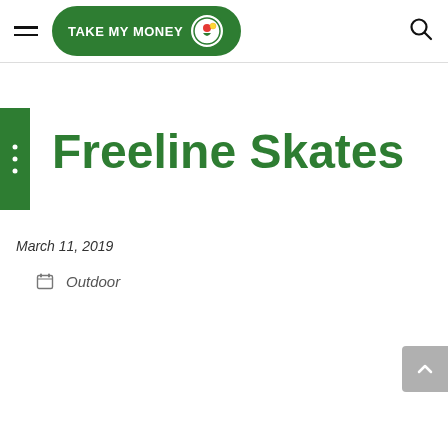Take My Money — site header with hamburger menu, logo, and search icon
Freeline Skates
March 11, 2019
Outdoor